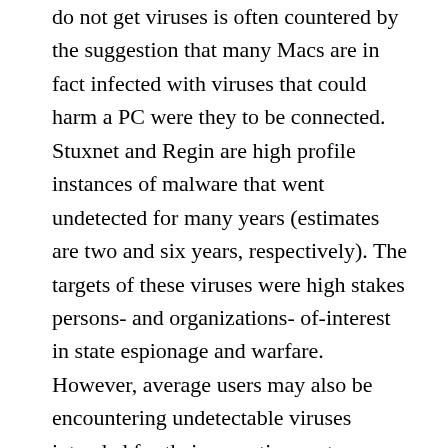do not get viruses is often countered by the suggestion that many Macs are in fact infected with viruses that could harm a PC were they to be connected. Stuxnet and Regin are high profile instances of malware that went undetected for many years (estimates are two and six years, respectively). The targets of these viruses were high stakes persons- and organizations- of-interest in state espionage and warfare. However, average users may also be encountering undetectable viruses intended for their operating system. Much of the malicious code circulating on a daily basis goes undetected by antivirus software. In tests run over the course of a year by LastLine labs, researchers found that on the first day of